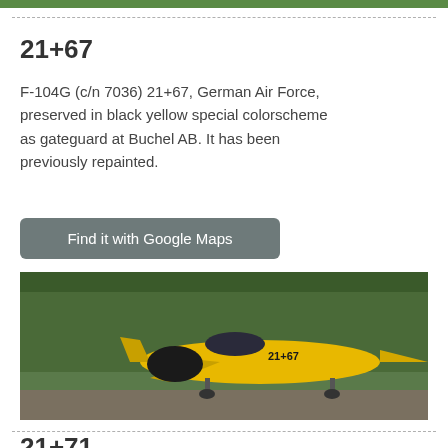[Figure (photo): Top green strip showing trees/landscape from a previous image entry]
21+67
F-104G (c/n 7036) 21+67, German Air Force, preserved in black yellow special colorscheme as gateguard at Buchel AB. It has been previously repainted.
Find it with Google Maps
[Figure (photo): Photo of F-104G Starfighter aircraft painted in black and yellow special colorscheme, displayed as a gate guard, with trees in the background.]
21+71